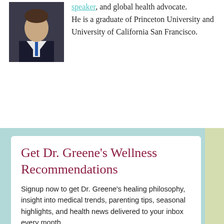[Figure (photo): Headshot of a man in a dark suit and tie against a dark background]
speaker, and global health advocate. He is a graduate of Princeton University and University of California San Francisco.
Get Dr. Greene's Wellness Recommendations
Signup now to get Dr. Greene's healing philosophy, insight into medical trends, parenting tips, seasonal highlights, and health news delivered to your inbox every month.
FIRST NAME